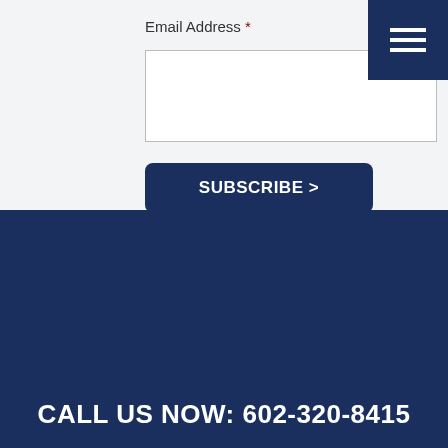Email Address *
SUBSCRIBE >
CALL US NOW: 602-320-8415